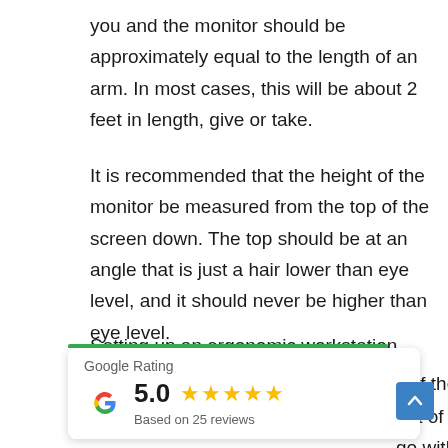you and the monitor should be approximately equal to the length of an arm. In most cases, this will be about 2 feet in length, give or take.
It is recommended that the height of the monitor be measured from the top of the screen down. The top should be at an angle that is just a hair lower than eye level, and it should never be higher than eye level.
Setting up an ergonomic workstation would not be [partial — continued after widget] ll of the features of the [partial] ght of the monitor. [partial] go without saying. It important to make sure that the height of the
[Figure (other): Google Rating widget showing 5.0 stars based on 25 reviews, with Google 'G' logo, green top bar, and star rating display]